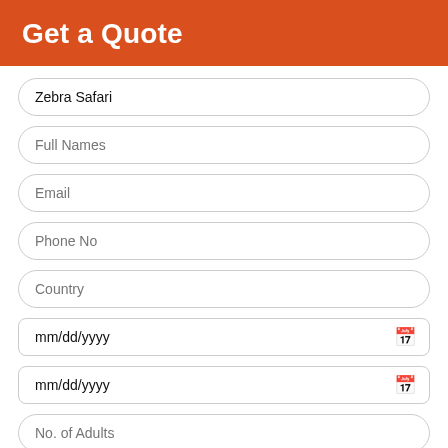Get a Quote
Zebra Safari
Full Names
Email
Phone No
Country
mm/dd/yyyy
mm/dd/yyyy
No. of Adults
Children
Details